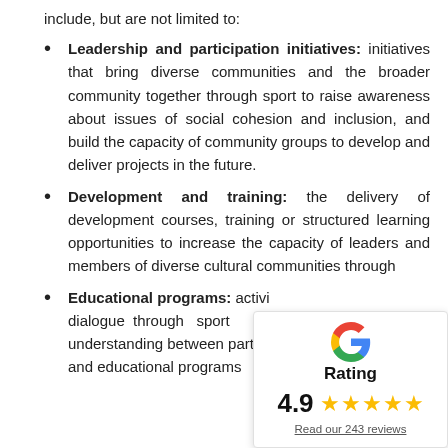include, but are not limited to:
Leadership and participation initiatives: initiatives that bring diverse communities and the broader community together through sport to raise awareness about issues of social cohesion and inclusion, and build the capacity of community groups to develop and deliver projects in the future.
Development and training: the delivery of development courses, training or structured learning opportunities to increase the capacity of leaders and members of diverse cultural communities through
Educational programs: activi dialogue through sport understanding between part and educational programs